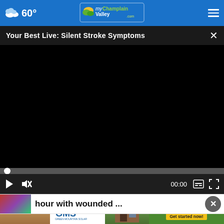60° myChamplainValley.com
Your Best Live: Silent Stroke Symptoms
[Figure (screenshot): Black video player screen showing a paused video with progress bar and playback controls including play button, mute icon, timestamp 00:00, captions icon, and fullscreen icon]
hour with wounded ...
[Figure (screenshot): GMS Green Mountain Solar advertisement banner with text 'Honest, Reliable Solar Solutions' and 'Get started now!' call to action on yellow button]